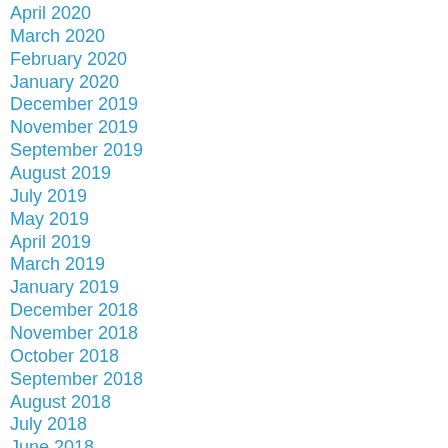April 2020
March 2020
February 2020
January 2020
December 2019
November 2019
September 2019
August 2019
July 2019
May 2019
April 2019
March 2019
January 2019
December 2018
November 2018
October 2018
September 2018
August 2018
July 2018
June 2018
May 2018